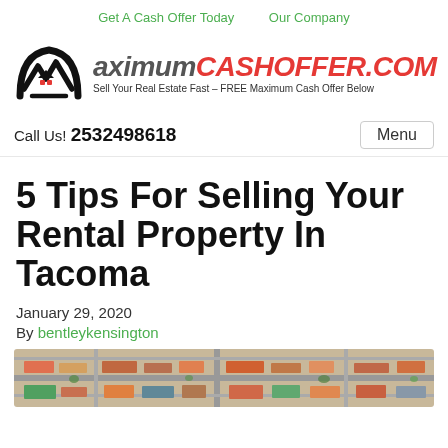Get A Cash Offer Today   Our Company
[Figure (logo): MaximumCashOffer.com logo with house/mountain icon and tagline: Sell Your Real Estate Fast – FREE Maximum Cash Offer Below]
Call Us! 2532498618
5 Tips For Selling Your Rental Property In Tacoma
January 29, 2020
By bentleykensington
[Figure (photo): Aerial view of residential neighborhood with colorful rooftops]